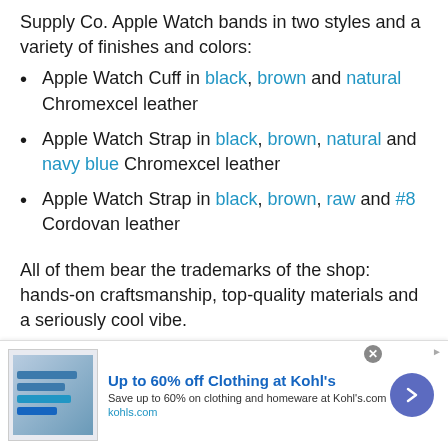Supply Co. Apple Watch bands in two styles and a variety of finishes and colors:
Apple Watch Cuff in black, brown and natural Chromexcel leather
Apple Watch Strap in black, brown, natural and navy blue Chromexcel leather
Apple Watch Strap in black, brown, raw and #8 Cordovan leather
All of them bear the trademarks of the shop: hands-on craftsmanship, top-quality materials and a seriously cool vibe.
If you are looking for a distinctive, handmade (and
[Figure (screenshot): Advertisement banner: Up to 60% off Clothing at Kohl's. Save up to 60% on clothing and homeware at Kohl's.com. kohls.com]